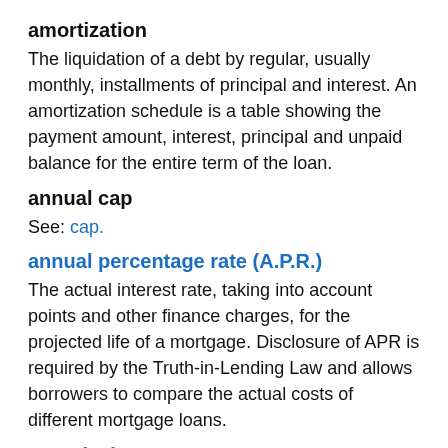amortization
The liquidation of a debt by regular, usually monthly, installments of principal and interest. An amortization schedule is a table showing the payment amount, interest, principal and unpaid balance for the entire term of the loan.
annual cap
See: cap.
annual percentage rate (A.P.R.)
The actual interest rate, taking into account points and other finance charges, for the projected life of a mortgage. Disclosure of APR is required by the Truth-in-Lending Law and allows borrowers to compare the actual costs of different mortgage loans.
appraisal
An estimate of a property's value as of a given date, determined by a qualified professional appraiser. The value may be based on replacement cost, the